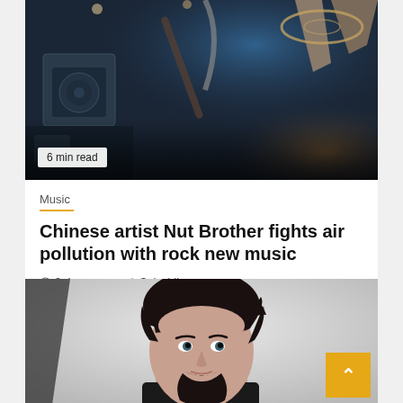[Figure (photo): Concert photo from below showing hands holding instruments and equipment against dark background with blue lighting]
6 min read
Music
Chinese artist Nut Brother fights air pollution with rock new music
3 days ago   Salsabila
[Figure (photo): Portrait photo of a man with curly dark hair, beard and mustache, looking directly at camera against light background]